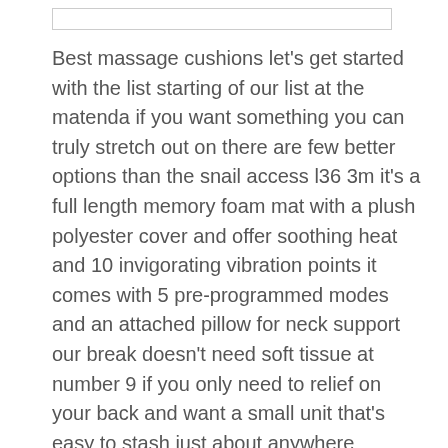Best massage cushions let's get started with the list starting of our list at the matenda if you want something you can truly stretch out on there are few better options than the snail access l36 3m it's a full length memory foam mat with a plush polyester cover and offer soothing heat and 10 invigorating vibration points it comes with 5 pre-programmed modes and an attached pillow for neck support our break doesn't need soft tissue at number 9 if you only need to relief on your back and want a small unit that's easy to stash just about anywhere development be e.l.f PM is a worthy choice its built-in overheat protection we'll turn